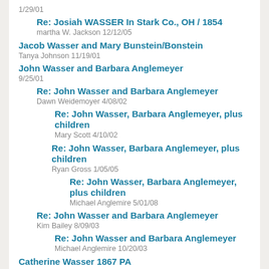1/29/01
Re: Josiah WASSER In Stark Co., OH / 1854
martha W. Jackson 12/12/05
Jacob Wasser and Mary Bunstein/Bonstein
Tanya Johnson 11/19/01
John Wasser and Barbara Anglemeyer
9/25/01
Re: John Wasser and Barbara Anglemeyer
Dawn Weidemoyer 4/08/02
Re: John Wasser, Barbara Anglemeyer, plus children
Mary Scott 4/10/02
Re: John Wasser, Barbara Anglemeyer, plus children
Ryan Gross 1/05/05
Re: John Wasser, Barbara Anglemeyer, plus children
Michael Anglemire 5/01/08
Re: John Wasser and Barbara Anglemeyer
Kim Bailey 8/09/03
Re: John Wasser and Barbara Anglemeyer
Michael Anglemire 10/20/03
Catherine Wasser 1867 PA
linda lane 6/01/05